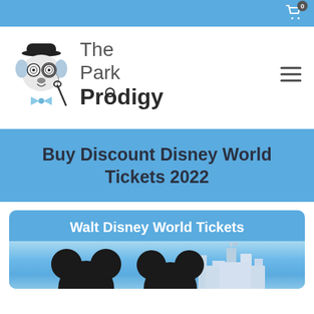[Figure (screenshot): Top navigation bar with shopping cart icon showing 0 items]
[Figure (logo): The Park Prodigy logo featuring a cartoon dog wearing a bowler hat and bow tie, with magnifying glass, next to the text 'The Park Prodigy']
Buy Discount Disney World Tickets 2022
Walt Disney World Tickets
[Figure (photo): Photo showing Mickey Mouse ears silhouettes in foreground with Cinderella Castle visible in background against a blue sky]